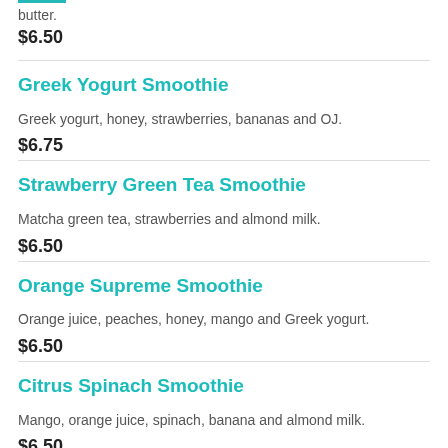butter.
$6.50
Greek Yogurt Smoothie
Greek yogurt, honey, strawberries, bananas and OJ.
$6.75
Strawberry Green Tea Smoothie
Matcha green tea, strawberries and almond milk.
$6.50
Orange Supreme Smoothie
Orange juice, peaches, honey, mango and Greek yogurt.
$6.50
Citrus Spinach Smoothie
Mango, orange juice, spinach, banana and almond milk.
$6.50